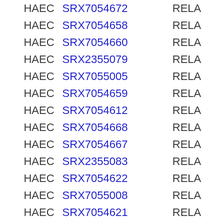| Cell | SRX ID | Type |
| --- | --- | --- |
| HAEC | SRX7054672 | RELA |
| HAEC | SRX7054658 | RELA |
| HAEC | SRX7054660 | RELA |
| HAEC | SRX2355079 | RELA |
| HAEC | SRX7055005 | RELA |
| HAEC | SRX7054659 | RELA |
| HAEC | SRX7054612 | RELA |
| HAEC | SRX7054668 | RELA |
| HAEC | SRX7054667 | RELA |
| HAEC | SRX2355083 | RELA |
| HAEC | SRX7054622 | RELA |
| HAEC | SRX7055008 | RELA |
| HAEC | SRX7054621 | RELA |
| HAEC | SRX7054616 | RELA |
| HAEC | SRX7055004 | RELA |
| HAEC | SRX7054662 | RELA |